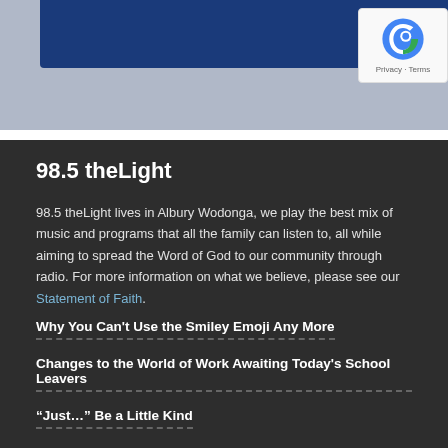[Figure (screenshot): Top grey bar with dark blue banner and reCAPTCHA badge in top right corner showing the reCAPTCHA logo and Privacy · Terms text]
98.5 theLight
98.5 theLight lives in Albury Wodonga, we play the best mix of music and programs that all the family can listen to, all while aiming to spread the Word of God to our community through radio. For more information on what we believe, please see our Statement of Faith.
Why You Can't Use the Smiley Emoji Any More
Changes to the World of Work Awaiting Today's School Leavers
“Just…” Be a Little Kind